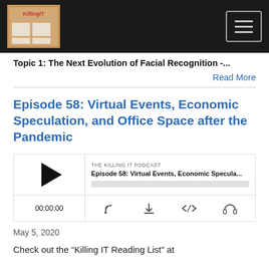Killing IT Podcast
Topic 1: The Next Evolution of Facial Recognition -...
Read More
Episode 58: Virtual Events, Economic Speculation, and Office Space after the Pandemic
[Figure (other): Podcast audio player widget for 'THE KILLING IT PODCAST' Episode 58: Virtual Events, Economic Specula... showing play button, progress bar, time 00:00:00, and controls for RSS, download, embed, and headphones.]
May 5, 2020
Check out the “Killing IT Reading List” at